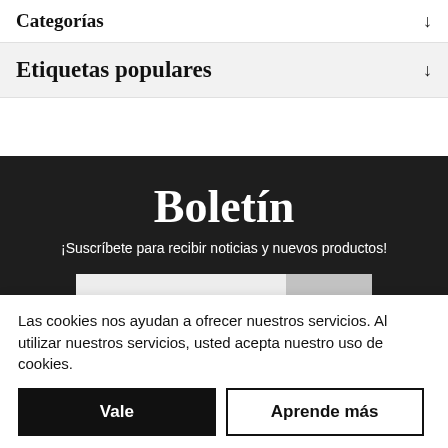Categorías
Etiquetas populares
Boletín
¡Suscríbete para recibir noticias y nuevos productos!
Las cookies nos ayudan a ofrecer nuestros servicios. Al utilizar nuestros servicios, usted acepta nuestro uso de cookies.
Vale
Aprende más